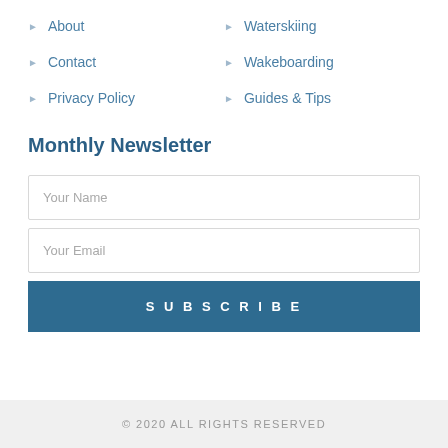About
Waterskiing
Contact
Wakeboarding
Privacy Policy
Guides & Tips
Monthly Newsletter
Your Name
Your Email
SUBSCRIBE
© 2020 ALL RIGHTS RESERVED